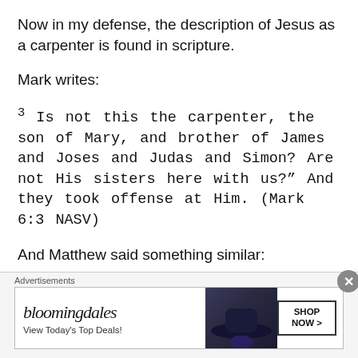Now in my defense, the description of Jesus as a carpenter is found in scripture.
Mark writes:
3 Is not this the carpenter, the son of Mary, and brother of James and Joses and Judas and Simon? Are not His sisters here with us?” And they took offense at Him. (Mark 6:3 NASV)
And Matthew said something similar:
55 Is not this the carpenter’s son? Is not His mother
[Figure (other): Bloomingdale's advertisement banner with logo, 'View Today's Top Deals!' text, a woman in a wide-brim hat, and a 'SHOP NOW >' button]